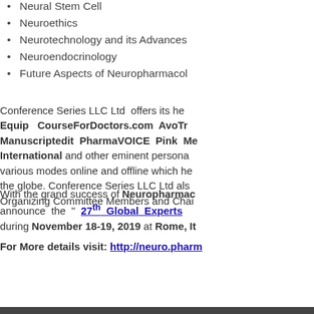Neural Stem Cell
Neuroethics
Neurotechnology and its Advances
Neuroendocrinology
Future Aspects of Neuropharmacology
Conference Series LLC Ltd offers its heartiest gratitude to Equip CourseForDoctors.com AvoTr... Manuscriptedit PharmaVOICE Pink Med... International and other eminent personalities for their support through various modes online and offline which helped in making this event successful across the globe. Conference Series LLC Ltd also thanks the Speakers, Organizing Committee Members and Chair...
With the grand success of Neuropharmac... announce the " 27th Global Experts ... during November 18-19, 2019 at Rome, It...
For More details visit: http://neuro.pharm...